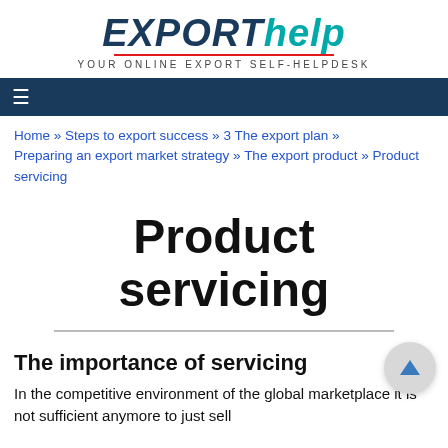[Figure (logo): ExportHelp logo with tagline 'your online export self-helpdesk']
≡ (navigation menu icon)
Home » Steps to export success » 3 The export plan » Preparing an export market strategy » The export product » Product servicing
Product servicing
The importance of servicing
In the competitive environment of the global marketplace it is not sufficient anymore to just sell